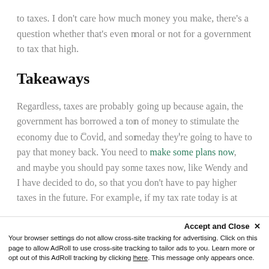to taxes. I don’t care how much money you make, there’s a question whether that’s even moral or not for a government to tax that high.
Takeaways
Regardless, taxes are probably going up because again, the government has borrowed a ton of money to stimulate the economy due to Covid, and someday they’re going to have to pay that money back. You need to make some plans now, and maybe you should pay some taxes now, like Wendy and I have decided to do, so that you don’t have to pay higher taxes in the future. For example, if my tax rate today is at 40% and in the future, I’m worried it’s
Accept and Close ×
Your browser settings do not allow cross-site tracking for advertising. Click on this page to allow AdRoll to use cross-site tracking to tailor ads to you. Learn more or opt out of this AdRoll tracking by clicking here. This message only appears once.